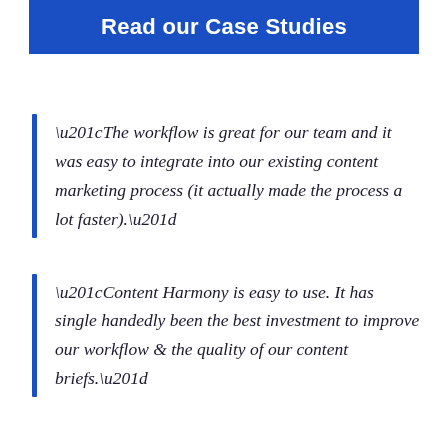Read our Case Studies
“The workflow is great for our team and it was easy to integrate into our existing content marketing process (it actually made the process a lot faster).”
“Content Harmony is easy to use. It has single handedly been the best investment to improve our workflow & the quality of our content briefs.”